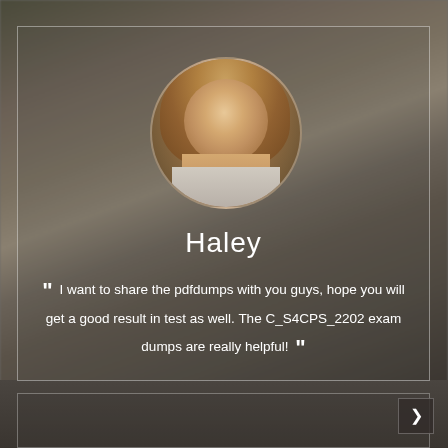[Figure (photo): Testimonial card with circular avatar photo of a smiling man with long brown hair, on a blurred laptop background. Name 'Haley' below the photo. Quote text beneath the name.]
Haley
“ I want to share the pdfdumps with you guys, hope you will get a good result in test as well. The C_S4CPS_2202 exam dumps are really helpful! ”